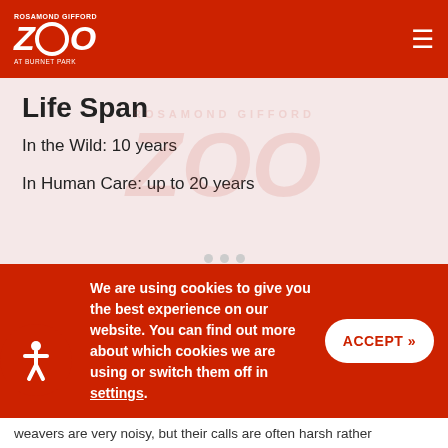ROSAMOND GIFFORD ZOO
Life Span
In the Wild: 10 years
In Human Care: up to 20 years
Fun Facts about the Taveta Golden Weaver
We are using cookies to give you the best experience on our website. You can find out more about which cookies we are using or switch them off in settings.
weavers are very noisy, but their calls are often harsh rather